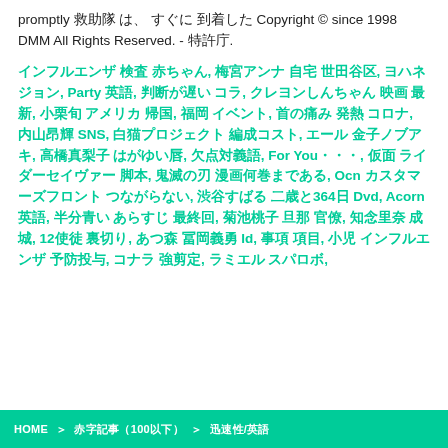promptly 救助隊 は、 すぐに 到着した Copyright © since 1998 DMM All Rights Reserved. - 特許庁.
インフルエンザ 検査 赤ちゃん, 梅宮アンナ 自宅 世田谷区, ヨハネ ジョン, Party 英語, 判断が遅い コラ, クレヨンしんちゃん 映画 最新, 小栗旬 アメリカ 帰国, 福岡 イベント, 首の痛み 発熱 コロナ, 内山昂輝 SNS, 白猫プロジェクト 編成コスト, エール 金子ノブアキ, 高橋真梨子 はがゆい唇, 欠点対義語, For You・・・, 仮面 ライダーセイヴァー 脚本, 鬼滅の刃 漫画何巻まである, Ocn カスタマーズフロント つながらない, 渋谷すばる 二歳と364日 Dvd, Acorn 英語, 半分青い あらすじ 最終回, 菊池桃子 旦那 官僚, 知念里奈 成城, 12使徒 裏切り, あつ森 冨岡義勇 Id, 事項 項目, 小児 インフルエンザ 予防投与, コナラ 強剪定, ラミエル スパロボ,
HOME ＞ 赤字記事（100以下） ＞ 迅速性/英語